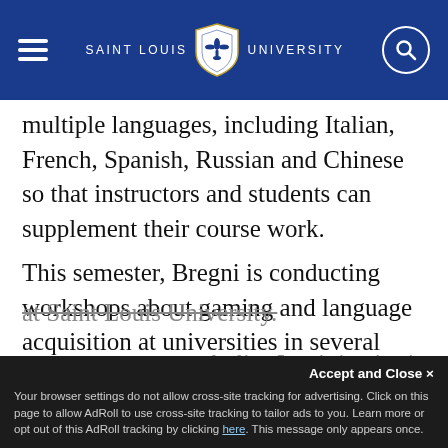SAINT LOUIS UNIVERSITY
multiple languages, including Italian, French, Spanish, Russian and Chinese so that instructors and students can supplement their course work.
This semester, Bregni is conducting workshops about gaming and language acquisition at universities in several cities across Europe, including Saint Louis University's Madrid campus. In 2017 Bregni was awarded the the James H. Korn Scholarship of Teaching and Learning Award by the Reinert Center at Saint Louis University.
Accept and Close ✕
Your browser settings do not allow cross-site tracking for advertising. Click on this page to allow AdRoll to use cross-site tracking to tailor ads to you. Learn more or opt out of this AdRoll tracking by clicking here. This message only appears once.
atholic, Jesuit institution